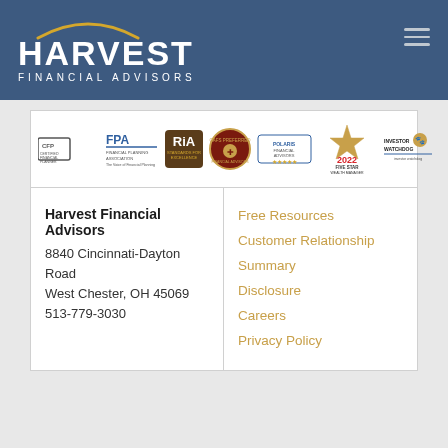[Figure (logo): Harvest Financial Advisors logo with arc/sun graphic and white text on blue background, hamburger menu icon top right]
[Figure (infographic): Row of credential/award badges: CFP Certified Financial Planner, FPA Financial Planning Association, RiA Standards for Excellence, CAFS Preferred Financial Advisors, Polaris Financial Advisors, 2022 Five Star Wealth Manager, Investor Watchdog]
Harvest Financial Advisors
8840 Cincinnati-Dayton Road
West Chester, OH 45069
513-779-3030
Free Resources
Customer Relationship Summary
Disclosure
Careers
Privacy Policy